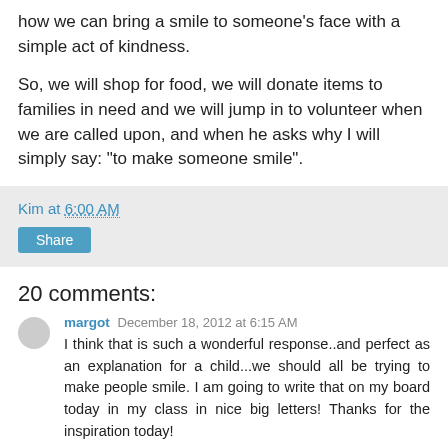how we can bring a smile to someone's face with a simple act of kindness.
So, we will shop for food, we will donate items to families in need and we will jump in to volunteer when we are called upon, and when he asks why I will simply say: "to make someone smile".
Kim at 6:00 AM
Share
20 comments:
margot December 18, 2012 at 6:15 AM
I think that is such a wonderful response..and perfect as an explanation for a child...we should all be trying to make people smile. I am going to write that on my board today in my class in nice big letters! Thanks for the inspiration today!